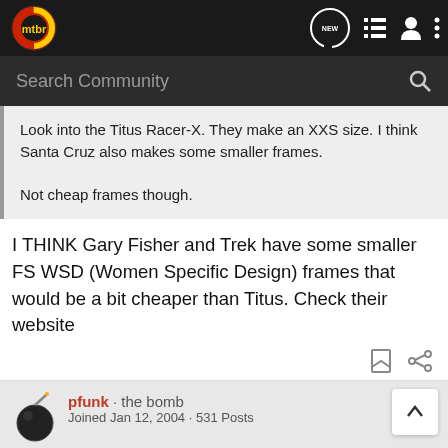mtbr
Search Community
Look into the Titus Racer-X. They make an XXS size. I think Santa Cruz also makes some smaller frames.

Not cheap frames though.
I THINK Gary Fisher and Trek have some smaller FS WSD (Women Specific Design) frames that would be a bit cheaper than Titus. Check their website
pfunk · the bomb
Joined Jan 12, 2004 · 531 Posts
[Figure (infographic): Bass Pro Shops ad: FALL HUNTING CLASSIC SAVE UP TO 30% SHOP NOW]
#4 · May